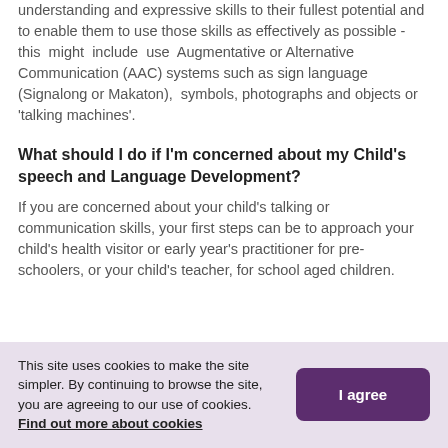understanding and expressive skills to their fullest potential and to enable them to use those skills as effectively as possible - this might include use Augmentative or Alternative Communication (AAC) systems such as sign language (Signalong or Makaton), symbols, photographs and objects or 'talking machines'.
What should I do if I'm concerned about my Child's speech and Language Development?
If you are concerned about your child's talking or communication skills, your first steps can be to approach your child's health visitor or early year's practitioner for pre-schoolers, or your child's teacher, for school aged children.
This site uses cookies to make the site simpler. By continuing to browse the site, you are agreeing to our use of cookies. Find out more about cookies